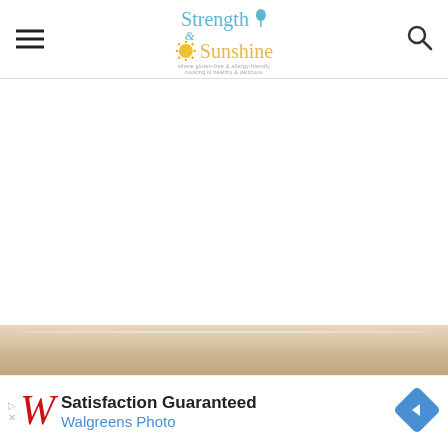Strength & Sunshine — where gluten-free & allergy-friendly cooking is healthy & delicious
[Figure (photo): Partial food/dish photo visible at bottom of page, warm beige/tan tones]
[Figure (screenshot): Walgreens Photo advertisement banner: Satisfaction Guaranteed — Walgreens Photo, with red W logo and blue diamond arrow icon]